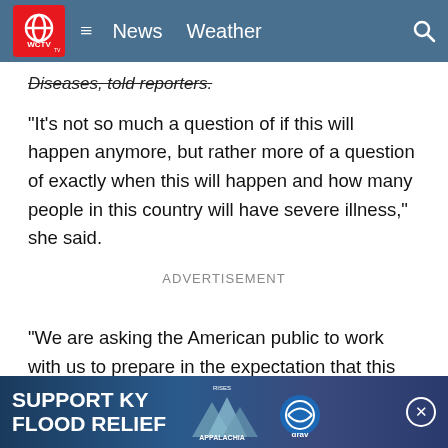WCTV | News  Weather
Diseases, told reporters.
"It's not so much a question of if this will happen anymore, but rather more of a question of exactly when this will happen and how many people in this country will have severe illness," she said.
ADVERTISEMENT
"We are asking the American public to work with us to prepare in the expectation that this could be bad," she said. "I continue to hope that in the end we'll look back and feel like...ce to be in th
[Figure (screenshot): SUPPORT KY FLOOD RELIEF - Appalachia Rises - Gray television logo banner ad]